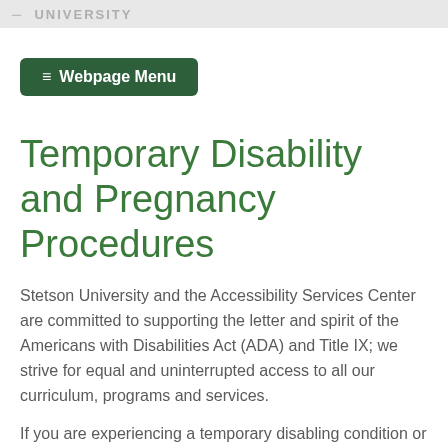UNIVERSITY
≡ Webpage Menu
Temporary Disability and Pregnancy Procedures
Stetson University and the Accessibility Services Center are committed to supporting the letter and spirit of the Americans with Disabilities Act (ADA) and Title IX; we strive for equal and uninterrupted access to all our curriculum, programs and services.
If you are experiencing a temporary disabling condition or pregnancy, you can contact the